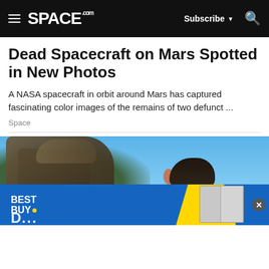SPACE.com — Subscribe — Search
Dead Spacecraft on Mars Spotted in New Photos
A NASA spacecraft in orbit around Mars has captured fascinating color images of the remains of two defunct ...
Space
[Figure (photo): Photo showing a soldier or person with military/outdoor gear and foliage in background, partially obscured by a Best Buy advertisement banner at the bottom]
[Figure (infographic): Best Buy advertisement banner with blue background, yellow arc shape, and refrigerator appliance image. Partially shows text below the ad.]